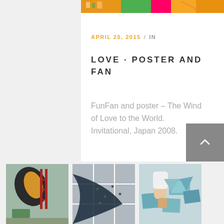[Figure (photo): Top orange banner image with colorful artwork]
APRIL 20, 2015 / IN
LOVE · POSTER AND FAN
FunFan and poster – The Wind of Love to the World. Invitational, Japan 2008.
[Figure (photo): Three thumbnail photos showing art/tile installation process]
[Figure (other): Scroll-up button (grey square with upward caret icon)]